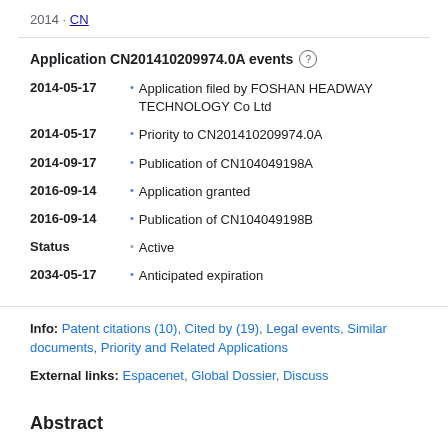2014 · CN
Application CN201410209974.0A events
2014-05-17 • Application filed by FOSHAN HEADWAY TECHNOLOGY Co Ltd
2014-05-17 • Priority to CN201410209974.0A
2014-09-17 • Publication of CN104049198A
2016-09-14 • Application granted
2016-09-14 • Publication of CN104049198B
Status • Active
2034-05-17 • Anticipated expiration
Info: Patent citations (10), Cited by (19), Legal events, Similar documents, Priority and Related Applications
External links: Espacenet, Global Dossier, Discuss
Abstract